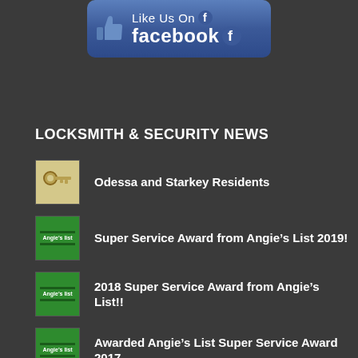[Figure (logo): Like Us On Facebook button with thumbs up icon and Facebook logo]
LOCKSMITH & SECURITY NEWS
Odessa and Starkey Residents
Super Service Award from Angie’s List 2019!
2018 Super Service Award from Angie’s List!!
Awarded Angie’s List Super Service Award 2017
When Should you Rekey your locks?
Angie’s List Super Service Award 2016